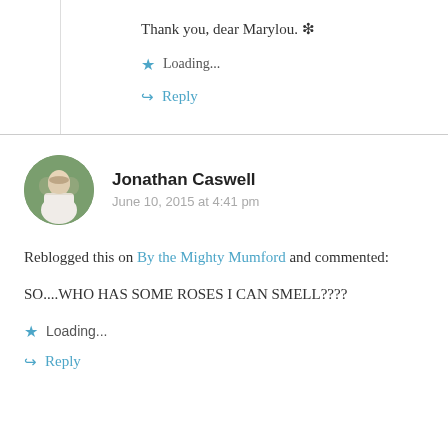Thank you, dear Marylou. ❋
Loading...
Reply
Jonathan Caswell
June 10, 2015 at 4:41 pm
Reblogged this on By the Mighty Mumford and commented:
SO....WHO HAS SOME ROSES I CAN SMELL????
Loading...
Reply